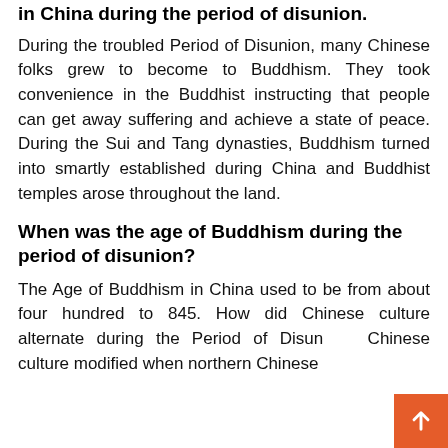in China during the period of disunion.
During the troubled Period of Disunion, many Chinese folks grew to become to Buddhism. They took convenience in the Buddhist instructing that people can get away suffering and achieve a state of peace. During the Sui and Tang dynasties, Buddhism turned into smartly established during China and Buddhist temples arose throughout the land.
When was the age of Buddhism during the period of disunion?
The Age of Buddhism in China used to be from about four hundred to 845. How did Chinese culture alternate during the Period of Disunion? Chinese culture modified when northern Chinese